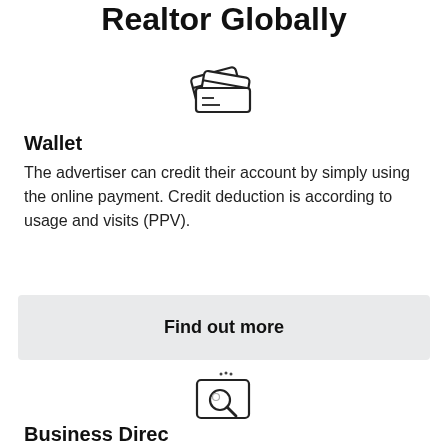Realtor Globally
[Figure (illustration): Credit card wallet icon — two cards fanned out above a card holder/wallet outline with dots on the face]
Wallet
The advertiser can credit their account by simply using the online payment. Credit deduction is according to usage and visits (PPV).
Find out more
[Figure (illustration): Search/magnifying glass inside a monitor/screen icon with small dots above]
Business Direc...